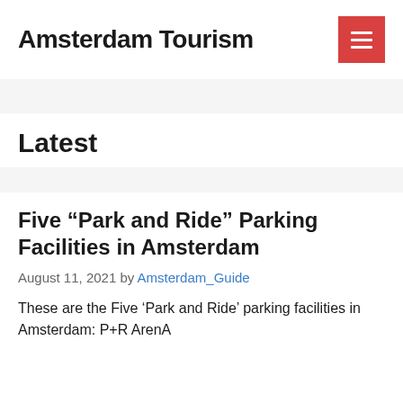Amsterdam Tourism
Latest
Five “Park and Ride” Parking Facilities in Amsterdam
August 11, 2021 by Amsterdam_Guide
These are the Five ‘Park and Ride’ parking facilities in Amsterdam: P+R ArenA